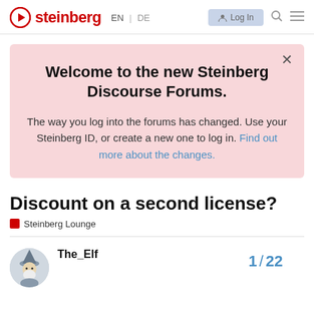steinberg EN | DE  Log In
Welcome to the new Steinberg Discourse Forums.
The way you log into the forums has changed. Use your Steinberg ID, or create a new one to log in. Find out more about the changes.
Discount on a second license?
Steinberg Lounge
The_Elf
1 / 22